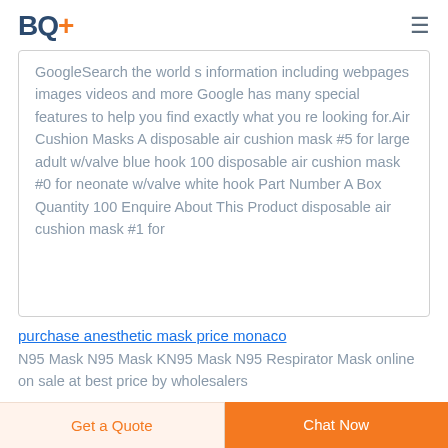BQ+
GoogleSearch the world s information including webpages images videos and more Google has many special features to help you find exactly what you re looking for.Air Cushion Masks A disposable air cushion mask #5 for large adult w/valve blue hook 100 disposable air cushion mask #0 for neonate w/valve white hook Part Number A Box Quantity 100 Enquire About This Product disposable air cushion mask #1 for
purchase anesthetic mask price monaco
N95 Mask N95 Mask KN95 Mask N95 Respirator Mask online on sale at best price by wholesalers